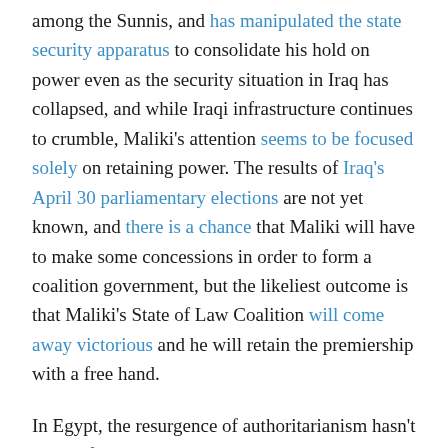among the Sunnis, and has manipulated the state security apparatus to consolidate his hold on power even as the security situation in Iraq has collapsed, and while Iraqi infrastructure continues to crumble, Maliki's attention seems to be focused solely on retaining power. The results of Iraq's April 30 parliamentary elections are not yet known, and there is a chance that Maliki will have to make some concessions in order to form a coalition government, but the likeliest outcome is that Maliki's State of Law Coalition will come away victorious and he will retain the premiership with a free hand.
In Egypt, the resurgence of authoritarianism hasn't waited for Field Marshal-turned-civilian Abdel Fattah el-Sisi's likely election in May. It began, arguably, with the coup that removed former President Mohamed Morsi from power, but